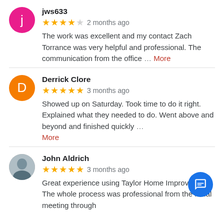jws633 — 4 stars — 2 months ago
The work was excellent and my contact Zach Torrance was very helpful and professional. The communication from the office … More
Derrick Clore — 5 stars — 3 months ago
Showed up on Saturday. Took time to do it right. Explained what they needed to do. Went above and beyond and finished quickly … More
John Aldrich — 5 stars — 3 months ago
Great experience using Taylor Home Improvement. The whole process was professional from the initial meeting through